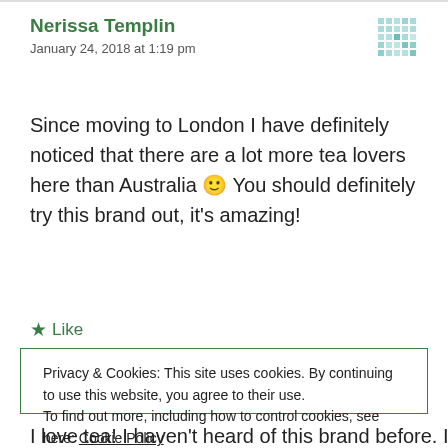Nerissa Templin
January 24, 2018 at 1:19 pm
Since moving to London I have definitely noticed that there are a lot more tea lovers here than Australia 🙂 You should definitely try this brand out, it's amazing!
★ Like
Privacy & Cookies: This site uses cookies. By continuing to use this website, you agree to their use.
To find out more, including how to control cookies, see here: Cookie Policy
Close and accept
I love tea! I haven't heard of this brand before. I'm not